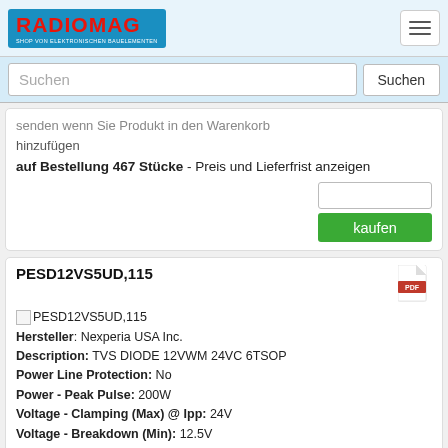[Figure (logo): RadioMag logo - shop von elektronischen bauelementen]
Suchen
senden wenn Sie Produkt in den Warenkorb hinzufügen
auf Bestellung 467 Stücke - Preis und Lieferfrist anzeigen
kaufen
PESD12VS5UD,115
Hersteller: Nexperia USA Inc.
Description: TVS DIODE 12VWM 24VC 6TSOP
Power Line Protection: No
Power - Peak Pulse: 200W
Voltage - Clamping (Max) @ Ipp: 24V
Voltage - Breakdown (Min): 12.5V
Unidirectional Channels: 5
Supplier Device Package: 6-TSOP
Voltage - Reverse Standoff (Typ): 12V (Max)
Current - Peak Pulse (10/1000µs): 10A (8/20µs)
Capacitance @ Frequency: 73pF @ 1MHz
Applications: General Purpose
Operating Temperature: -65°C ~ 150°C (TA)